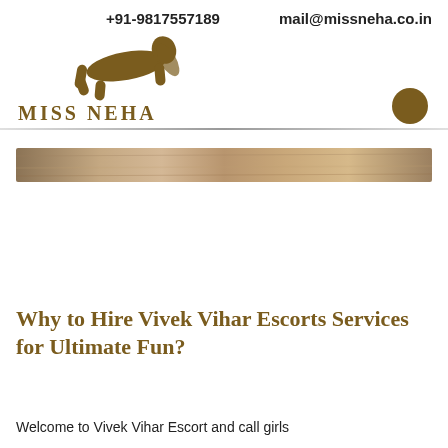+91-9817557189   mail@missneha.co.in
[Figure (logo): Miss Neha logo with silhouette figure and stylized text 'MISS NEHA' in dark olive/brown color]
[Figure (photo): Narrow horizontal banner image showing a close-up photo (face/skin tones, brownish/warm tones)]
Why to Hire Vivek Vihar Escorts Services for Ultimate Fun?
Welcome to Vivek Vihar Escort and call girls